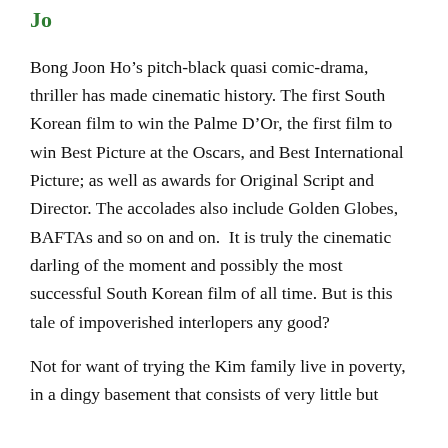Jo
Bong Joon Ho’s pitch-black quasi comic-drama, thriller has made cinematic history. The first South Korean film to win the Palme D’Or, the first film to win Best Picture at the Oscars, and Best International Picture; as well as awards for Original Script and Director. The accolades also include Golden Globes, BAFTAs and so on and on.  It is truly the cinematic darling of the moment and possibly the most successful South Korean film of all time. But is this tale of impoverished interlopers any good?
Not for want of trying the Kim family live in poverty, in a dingy basement that consists of very little but